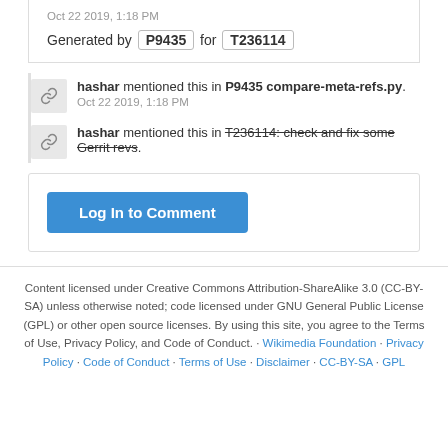Oct 22 2019, 1:18 PM
Generated by P9435 for T236114
hashar mentioned this in P9435 compare-meta-refs.py. Oct 22 2019, 1:18 PM
hashar mentioned this in T236114: check and fix some Gerrit revs.
Log In to Comment
Content licensed under Creative Commons Attribution-ShareAlike 3.0 (CC-BY-SA) unless otherwise noted; code licensed under GNU General Public License (GPL) or other open source licenses. By using this site, you agree to the Terms of Use, Privacy Policy, and Code of Conduct. · Wikimedia Foundation · Privacy Policy · Code of Conduct · Terms of Use · Disclaimer · CC-BY-SA · GPL